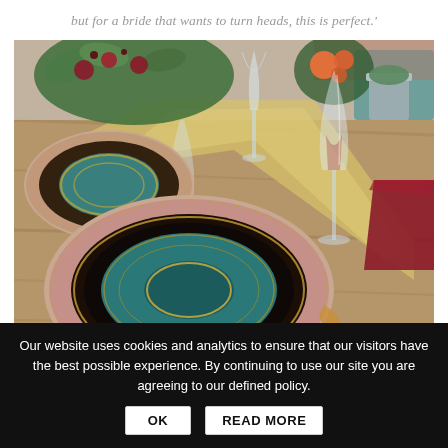but for a bride that wants to turn heads, this is perfect.'
[Figure (photo): Elegantly set wedding table with ornate decorated plates featuring teal and gold patterns, crystal wine glasses, copper cutlery, burgundy napkins, yellow fabric table runner, and floral centerpiece with orange roses and succulents on a rustic wooden table.]
[Figure (photo): Partial view of another table setting, bottom of page.]
Our website uses cookies and analytics to ensure that our visitors have the best possible experience. By continuing to use our site you are agreeing to our defined policy.